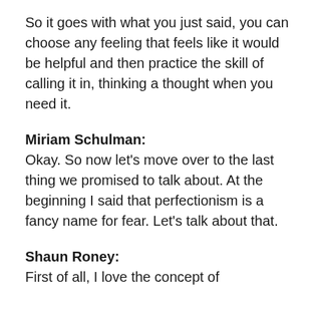So it goes with what you just said, you can choose any feeling that feels like it would be helpful and then practice the skill of calling it in, thinking a thought when you need it.
Miriam Schulman:
Okay. So now let's move over to the last thing we promised to talk about. At the beginning I said that perfectionism is a fancy name for fear. Let's talk about that.
Shaun Roney:
First of all, I love the concept of